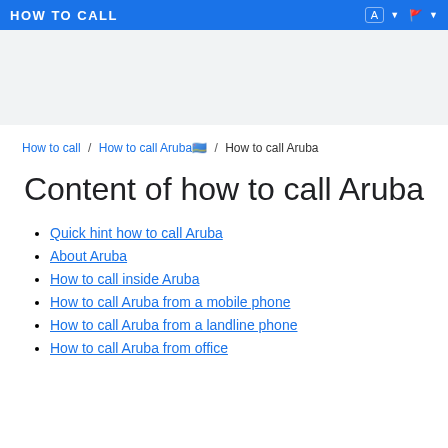HOW TO CALL
How to call / How to call Aruba🇦🇼 / How to call Aruba
Content of how to call Aruba
Quick hint how to call Aruba
About Aruba
How to call inside Aruba
How to call Aruba from a mobile phone
How to call Aruba from a landline phone
How to call Aruba from office